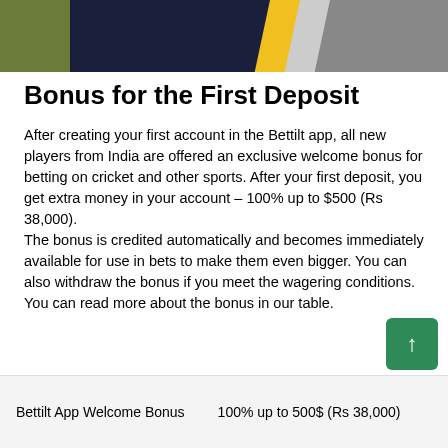[Figure (photo): Sports-themed banner image with green/yellow and dark navy colors, appears to be a cricket or sports jersey close-up]
Bonus for the First Deposit
After creating your first account in the Bettilt app, all new players from India are offered an exclusive welcome bonus for betting on cricket and other sports. After your first deposit, you get extra money in your account – 100% up to $500 (Rs 38,000).
The bonus is credited automatically and becomes immediately available for use in bets to make them even bigger. You can also withdraw the bonus if you meet the wagering conditions.
You can read more about the bonus in our table.
| Bettilt App Welcome Bonus | 100% up to 500$ (Rs 38,000) |